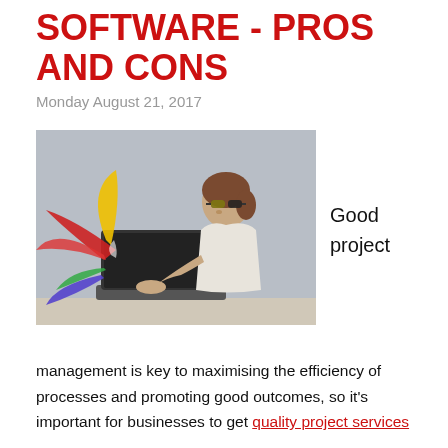SOFTWARE - PROS AND CONS
Monday August 21, 2017
[Figure (photo): Woman with sunglasses sitting at a laptop, with colorful paint splashes emerging from the screen]
Good project
management is key to maximising the efficiency of processes and promoting good outcomes, so it's important for businesses to get quality project services